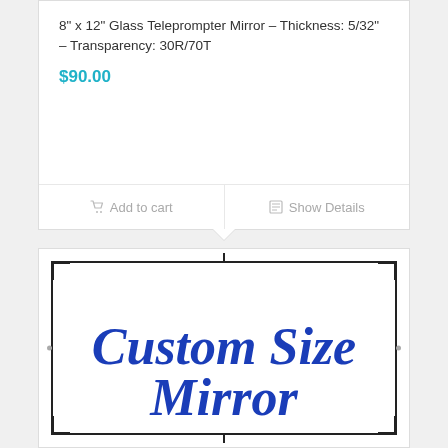8" x 12" Glass Teleprompter Mirror – Thickness: 5/32" – Transparency: 30R/70T
$90.00
Add to cart
Show Details
[Figure (illustration): Product card showing 'Custom Size Mirror' text in large bold italic blue font inside a bordered frame with corner brackets and tick marks]